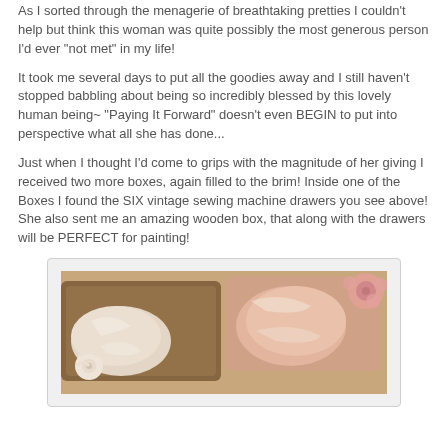As I sorted through the menagerie of breathtaking pretties I couldn't help but think this woman was quite possibly the most generous person I'd ever "not met" in my life!

It took me several days to put all the goodies away and I still haven't stopped babbling about being so incredibly blessed by this lovely human being~ "Paying It Forward" doesn't even BEGIN to put into perspective what all she has done...

Just when I thought I'd come to grips with the magnitude of her giving I received two more boxes, again filled to the brim! Inside one of the Boxes I found the SIX vintage sewing machine drawers you see above! She also sent me an amazing wooden box, that along with the drawers will be PERFECT for painting!
[Figure (photo): Photo showing wrapped/bagged items in a tray or basket, with what appears to be fabric or soft goods in plastic bags, along with some floral decorations visible.]